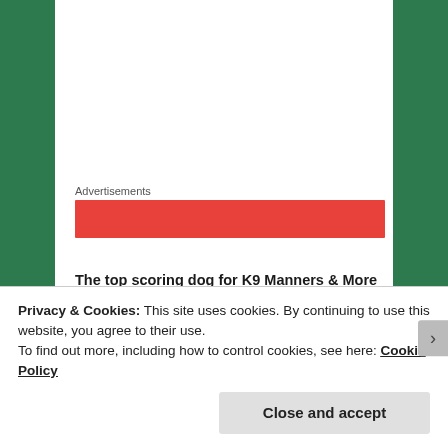Advertisements
[Figure (other): Red advertisement banner]
The top scoring dog for K9 Manners & More in Broken Arrow, Oklahoma, was Pip, a Standard Poodle handled by Philip VandeVerg. Pip and Philip finished this course with zero faults in 34.48 seconds:
[Figure (screenshot): Black video player bar at bottom of visible content]
Privacy & Cookies: This site uses cookies. By continuing to use this website, you agree to their use.
To find out more, including how to control cookies, see here: Cookie Policy
Close and accept